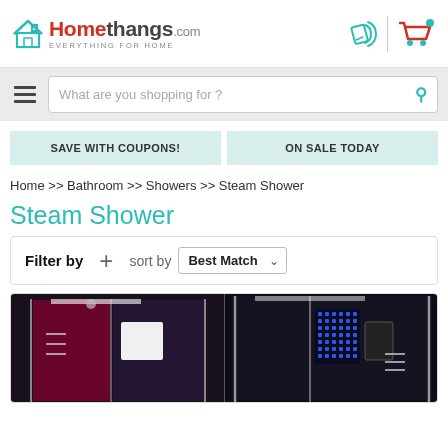[Figure (logo): Homethangs.com logo with house icon, red and gray text, tagline EVERYTHING FOR HOME]
[Figure (illustration): Mobile phone with wireless signal icon (teal)]
[Figure (illustration): Shopping cart icon (red/teal)]
What are you shopping for ?
SAVE WITH COUPONS!
ON SALE TODAY
Home >> Bathroom >> Showers >> Steam Shower
Steam Shower
Filter by + sort by Best Match
[Figure (photo): Two steam shower enclosures side by side - left one with red/purple interior, right one with blue LED lighting, both are dark glass enclosures]